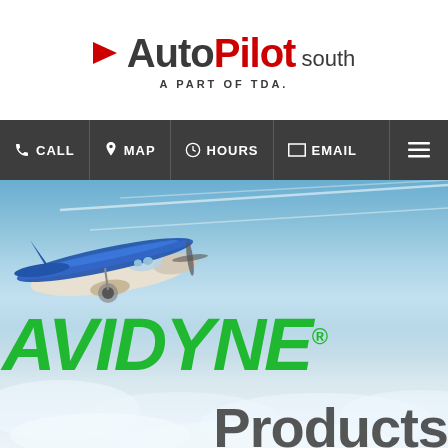[Figure (logo): AutoPilot South logo with red arrow, 'Auto' in dark gray, 'Pilot' in red, 'south' in smaller gray text, tagline 'A PART OF TDA.' below]
CALL  MAP  HOURS  EMAIL
[Figure (photo): Small blue and white Cessna airplane flying through a blue sky with white clouds and contrails. AVIDYNE logo in large green italic letters overlaid on the image. 'Products' text partially visible at bottom right.]